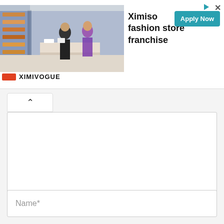[Figure (screenshot): Advertisement banner for Ximiso fashion store franchise with store interior photo, Apply Now button, and XIMIVOGUE brand logo]
[Figure (screenshot): Web form UI showing an accordion toggle (chevron up), a large textarea input field, and a Name* text input field below]